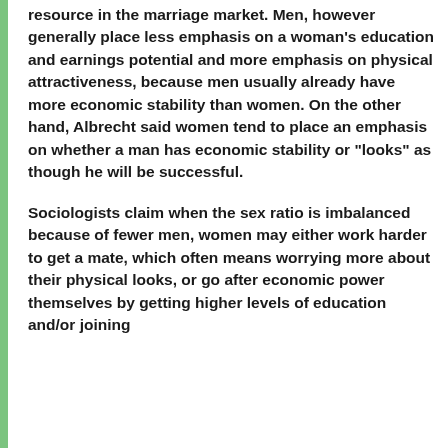resource in the marriage market. Men, however generally place less emphasis on a woman's education and earnings potential and more emphasis on physical attractiveness, because men usually already have more economic stability than women. On the other hand, Albrecht said women tend to place an emphasis on whether a man has economic stability or "looks" as though he will be successful.
Sociologists claim when the sex ratio is imbalanced because of fewer men, women may either work harder to get a mate, which often means worrying more about their physical looks, or go after economic power themselves by getting higher levels of education and/or joining